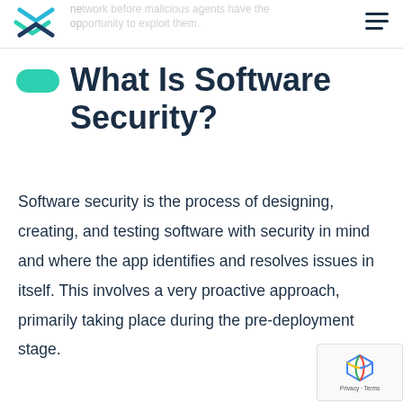network before malicious agents have the opportunity to exploit them.
What Is Software Security?
Software security is the process of designing, creating, and testing software with security in mind and where the app identifies and resolves issues in itself. This involves a very proactive approach, primarily taking place during the pre-deployment stage.